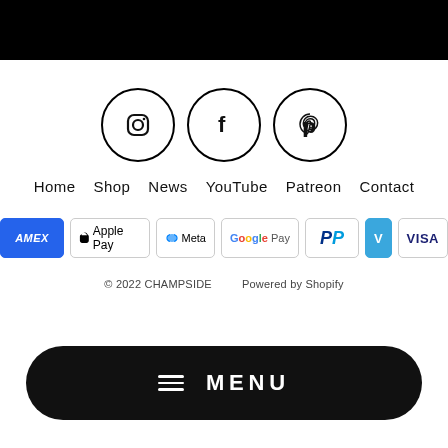[Figure (other): Black header bar at top of page]
[Figure (other): Three social media icons in circles: Instagram, Facebook, Pinterest]
Home   Shop   News   YouTube   Patreon   Contact
[Figure (other): Payment method badges: AMEX, Apple Pay, Meta, Google Pay, PayPal, Venmo, VISA]
© 2022 CHAMPSIDE   Powered by Shopify
[Figure (other): Black rounded MENU button with hamburger icon at bottom of page]